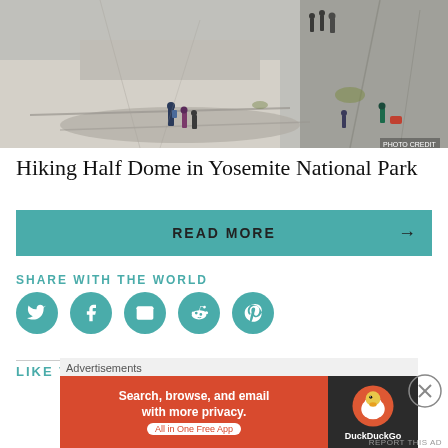[Figure (photo): Hikers climbing steep granite rock face at Half Dome, Yosemite National Park, with sheer cliff wall visible]
Hiking Half Dome in Yosemite National Park
READ MORE →
SHARE WITH THE WORLD
[Figure (infographic): Social sharing icons: Twitter, Facebook, Email, Reddit, Pinterest - all teal circular buttons]
LIKE THIS:
Advertisements
[Figure (screenshot): DuckDuckGo advertisement banner: Search, browse, and email with more privacy. All in One Free App]